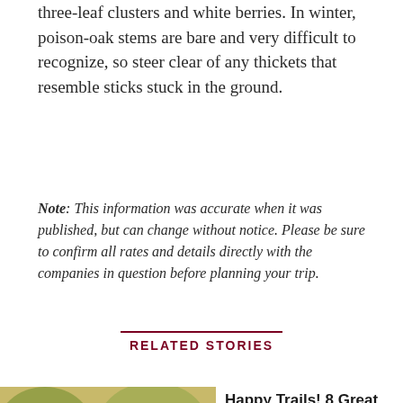three-leaf clusters and white berries. In winter, poison-oak stems are bare and very difficult to recognize, so steer clear of any thickets that resemble sticks stuck in the ground.
Note: This information was accurate when it was published, but can change without notice. Please be sure to confirm all rates and details directly with the companies in question before planning your trip.
RELATED STORIES
[Figure (photo): A family with two children hiking on a trail, with an adult man using a hiking pole and two children walking alongside adults in an outdoor setting.]
Happy Trails! 8 Great Hikes for Families—from Day Trips to